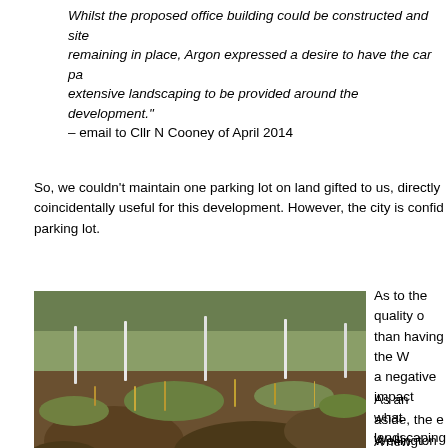Whilst the proposed office building could be constructed and site remaining in place, Argon expressed a desire to have the car pa extensive landscaping to be provided around the development." – email to Cllr N Cooney of April 2014
So, we couldn't maintain one parking lot on land gifted to us, directly coincidentally useful for this development. However, the city is confid parking lot.
[Figure (photo): Outdoor photograph showing disturbed ground with patches of grass, dry vegetation, and scattered dark debris or rocks on bare earth with small white stakes visible in the background.]
As to the quality o than having the W a negative impact what landscaping
As an aside, the e Wellington Road f
A new building an things.